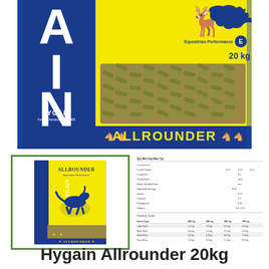[Figure (photo): Large product shot of Hygain Allrounder 20kg horse feed bag. Blue and yellow bag with large letters AIN visible on blue left panel, yellow right panel showing pellet window with green pellets, Equestrian Performance badge, 20kg weight label, and ALLROUNDER text on blue bottom strip.]
[Figure (photo): Small thumbnail of Hygain Allrounder product bag inside a green-bordered white box, showing the full bag with running horse graphic.]
[Figure (table-as-image): Nutritional data sheet/table showing feeding information for Hygain Allrounder with columns for different horse sizes/workloads and rows for various nutrients.]
Hygain Allrounder 20kg